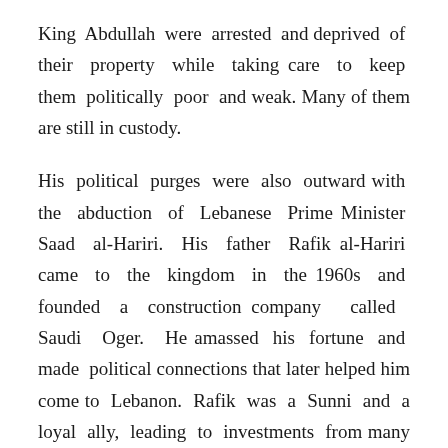King Abdullah were arrested and deprived of their property while taking care to keep them politically poor and weak. Many of them are still in custody.

His political purges were also outward with the abduction of Lebanese Prime Minister Saad al-Hariri. His father Rafik al-Hariri came to the kingdom in the 1960s and founded a construction company called Saudi Oger. He amassed his fortune and made political connections that later helped him come to Lebanon. Rafik was a Sunni and a loyal ally, leading to investments from many Gulf states in Lebanon when Syria eventually eliminated him in 2005. In